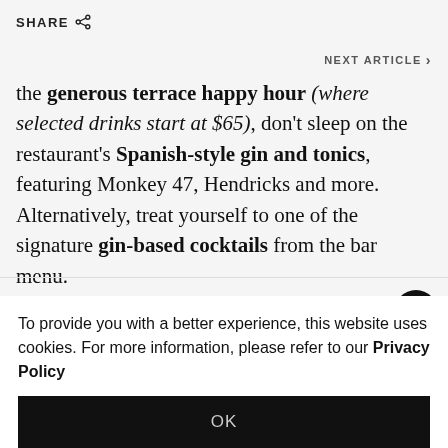SHARE
NEXT ARTICLE
the generous terrace happy hour (where selected drinks start at $65), don't sleep on the restaurant's Spanish-style gin and tonics, featuring Monkey 47, Hendricks and more. Alternatively, treat yourself to one of the signature gin-based cocktails from the bar menu.
La Rambla, 3071-73, Level 3, ifc mall, Central, Hong Kong
To provide you with a better experience, this website uses cookies. For more information, please refer to our Privacy Policy